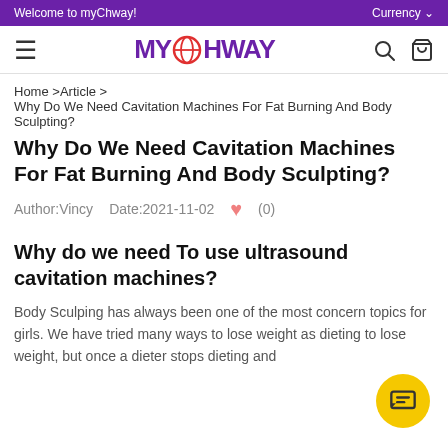Welcome to myChway!    Currency
[Figure (logo): myChway logo with globe icon replacing the O in MYCHWAY, purple text, hamburger menu, search and cart icons]
Home >Article > Why Do We Need Cavitation Machines For Fat Burning And Body Sculpting?
Why Do We Need Cavitation Machines For Fat Burning And Body Sculpting?
Author:Vincy    Date:2021-11-02    ♥ (0)
Why do we need To use ultrasound cavitation machines?
Body Sculping has always been one of the most concern topics for girls. We have tried many ways to lose weight as dieting to lose weight, but once a dieter stops dieting and